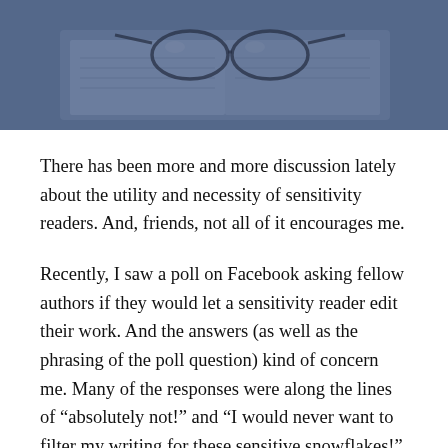[Figure (photo): Photo of glasses resting on an open book, tinted with a dark blue overlay]
There has been more and more discussion lately about the utility and necessity of sensitivity readers. And, friends, not all of it encourages me.
Recently, I saw a poll on Facebook asking fellow authors if they would let a sensitivity reader edit their work. And the answers (as well as the phrasing of the poll question) kind of concern me. Many of the responses were along the lines of “absolutely not!” and “I would never want to filter my writing for these sensitive snowflakes!”